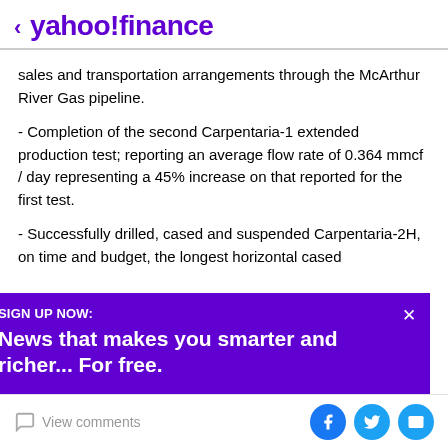< yahoo!finance
sales and transportation arrangements through the McArthur River Gas pipeline.
- Completion of the second Carpentaria-1 extended production test; reporting an average flow rate of 0.364 mmcf / day representing a 45% increase on that reported for the first test.
- Successfully drilled, cased and suspended Carpentaria-2H, on time and budget, the longest horizontal cased
SIGN UP NOW:
News that makes you smarter and richer... For free.
View comments